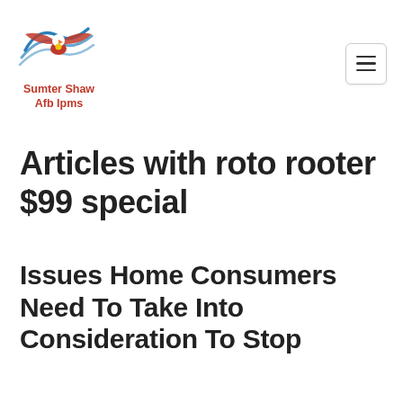[Figure (logo): Sumter Shaw Afb Ipms logo with eagle and wave graphic above text]
Articles with roto rooter $99 special
Issues Home Consumers Need To Take Into Consideration To Stop